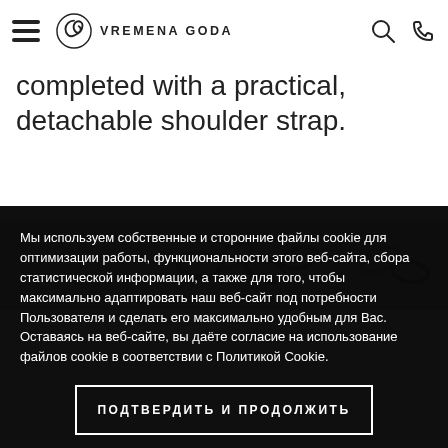VREMENA GODA
completed with a practical, detachable shoulder strap.
[Figure (photo): Product image showing bag chain/hardware details]
Мы используем собственные и сторонние файлы cookie для оптимизации работы, функциональности этого веб-сайта, сбора статистической информации, а также для того, чтобы максимально адаптировать наш веб-сайт под потребности Пользователя и сделать его максимально удобным для Вас. Оставаясь на веб-сайте, вы даёте согласие на использование файлов cookie в соответствии с Политикой Cookie.
ПОДТВЕРДИТЬ И ПРОДОЛЖИТЬ